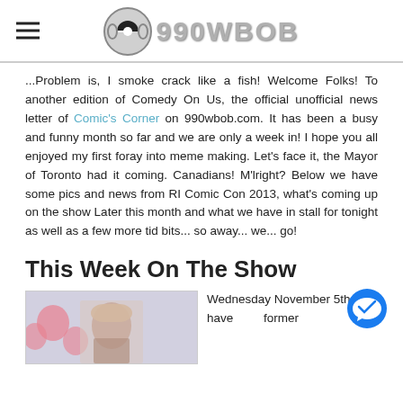990WBOB
...Problem is, I smoke crack like a fish! Welcome Folks! To another edition of Comedy On Us, the official unofficial news letter of Comic's Corner on 990wbob.com. It has been a busy and funny month so far and we are only a week in! I hope you all enjoyed my first foray into meme making. Let's face it, the Mayor of Toronto had it coming. Canadians! M'lright? Below we have some pics and news from RI Comic Con 2013, what's coming up on the show Later this month and what we have in stall for tonight as well as a few more tid bits... so away... we... go!
This Week On The Show
[Figure (photo): Photo of a person with heart decorations in the background]
Wednesday November 5th we have former